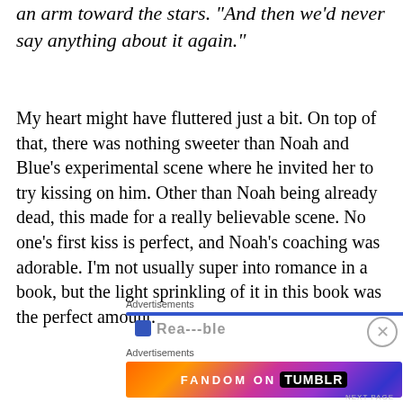an arm toward the stars. "And then we'd never say anything about it again."
My heart might have fluttered just a bit. On top of that, there was nothing sweeter than Noah and Blue's experimental scene where he invited her to try kissing on him. Other than Noah being already dead, this made for a really believable scene. No one's first kiss is perfect, and Noah's coaching was adorable. I'm not usually super into romance in a book, but the light sprinkling of it in this book was the perfect amount.
Advertisements
[Figure (other): Blue horizontal bar below Advertisements label]
Advertisements
[Figure (other): Fandom on Tumblr advertisement banner with colorful gradient background]